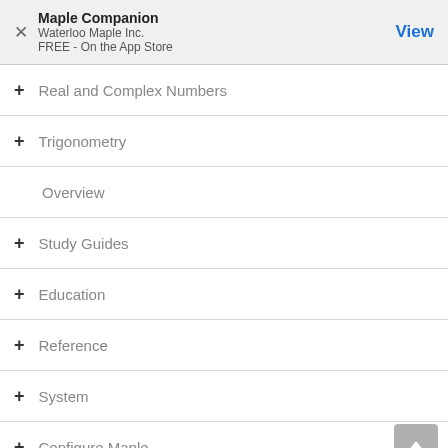Maple Companion
Waterloo Maple Inc.
FREE - On the App Store
+ Real and Complex Numbers
+ Trigonometry
Overview
+ Study Guides
+ Education
+ Reference
+ System
+ Configure Maple
+ Manuals